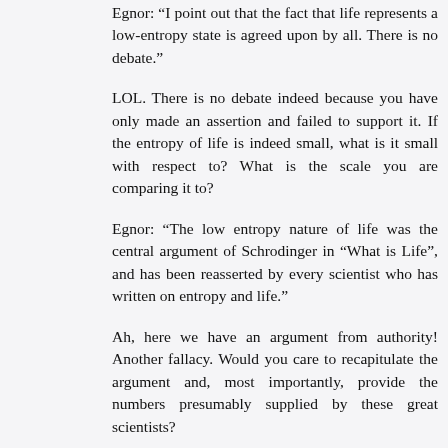Egnor: "I point out that the fact that life represents a low-entropy state is agreed upon by all. There is no debate."
LOL. There is no debate indeed because you have only made an assertion and failed to support it. If the entropy of life is indeed small, what is it small with respect to? What is the scale you are comparing it to?
Egnor: "The low entropy nature of life was the central argument of Schrodinger in "What is Life", and has been reasserted by every scientist who has written on entropy and life."
Ah, here we have an argument from authority! Another fallacy. Would you care to recapitulate the argument and, most importantly, provide the numbers presumably supplied by these great scientists?
Egnor: "Life is low entropy, and Darwinism can't